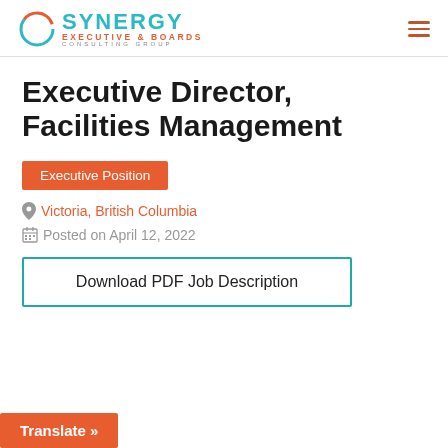Synergy Executive & Boards Consulting Group
Executive Director, Facilities Management
Executive Position
Victoria, British Columbia
Posted on April 12, 2022
Download PDF Job Description
Translate »